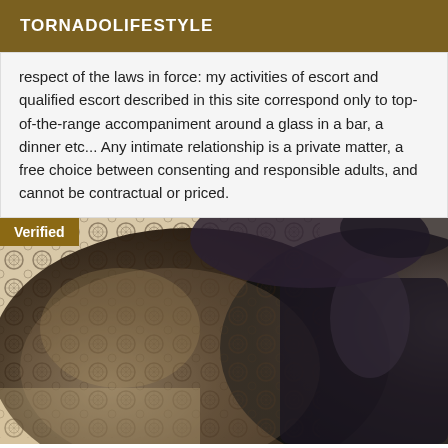TORNADOLIFESTYLE
respect of the laws in force: my activities of escort and qualified escort described in this site correspond only to top-of-the-range accompaniment around a glass in a bar, a dinner etc... Any intimate relationship is a private matter, a free choice between consenting and responsible adults, and cannot be contractual or priced.
[Figure (photo): Close-up photo of black lace lingerie and dark fabric, with a 'Verified' badge in the top-left corner.]
PLEASURE SHARING